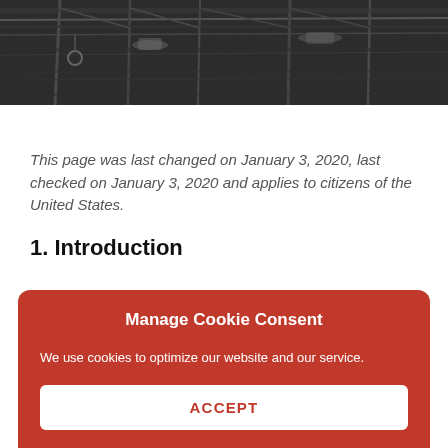[Figure (photo): Black and white photo of industrial/construction steel scaffolding or framework overhead]
This page was last changed on January 3, 2020, last checked on January 3, 2020 and applies to citizens of the United States.
1. Introduction
Manage Cookie Consent
We use cookies to optimize our website and our service.
ACCEPT